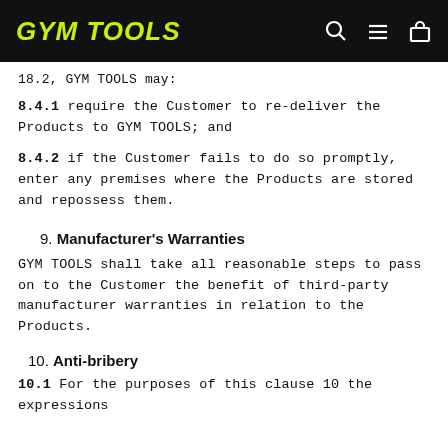GYM TOOLS
18.2, GYM TOOLS may:
8.4.1 require the Customer to re-deliver the Products to GYM TOOLS; and
8.4.2 if the Customer fails to do so promptly, enter any premises where the Products are stored and repossess them.
9. Manufacturer's Warranties
GYM TOOLS shall take all reasonable steps to pass on to the Customer the benefit of third-party manufacturer warranties in relation to the Products.
10. Anti-bribery
10.1 For the purposes of this clause 10 the expressions